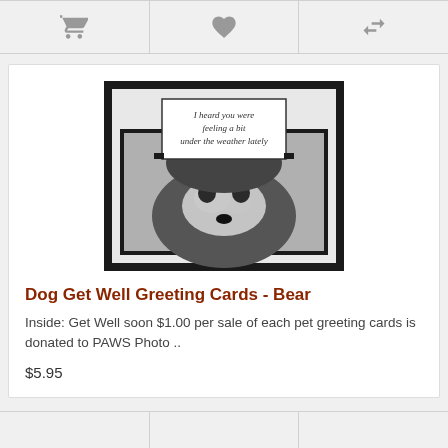[Figure (other): Top toolbar with cart icon, heart/wishlist icon, and compare icon on light gray background]
[Figure (photo): Greeting card featuring a black and white photo of a snow-covered dog face, with a text box reading 'I heard you were feeling a bit under the weather lately']
Dog Get Well Greeting Cards - Bear
Inside: Get Well soon $1.00 per sale of each pet greeting cards is donated to PAWS Photo ..
$5.95